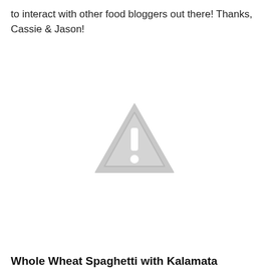to interact with other food bloggers out there! Thanks, Cassie & Jason!
[Figure (illustration): A gray warning/caution triangle icon with an exclamation mark, indicating a missing or broken image placeholder.]
Whole Wheat Spaghetti with Kalamata